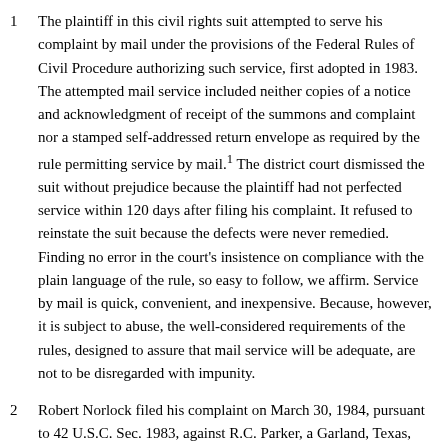The plaintiff in this civil rights suit attempted to serve his complaint by mail under the provisions of the Federal Rules of Civil Procedure authorizing such service, first adopted in 1983. The attempted mail service included neither copies of a notice and acknowledgment of receipt of the summons and complaint nor a stamped self-addressed return envelope as required by the rule permitting service by mail.¹ The district court dismissed the suit without prejudice because the plaintiff had not perfected service within 120 days after filing his complaint. It refused to reinstate the suit because the defects were never remedied. Finding no error in the court's insistence on compliance with the plain language of the rule, so easy to follow, we affirm. Service by mail is quick, convenient, and inexpensive. Because, however, it is subject to abuse, the well-considered requirements of the rules, designed to assure that mail service will be adequate, are not to be disregarded with impunity.
Robert Norlock filed his complaint on March 30, 1984, pursuant to 42 U.S.C. Sec. 1983, against R.C. Parker, a Garland, Texas, police officer, and the City of Garland seeking damages for injuries sustained during his arrest on April 3, 1982 and for the alleged denial of medical treatment to him until the following morning. He served the complaint by mail pursuant to Federal Rule of Civil Procedure